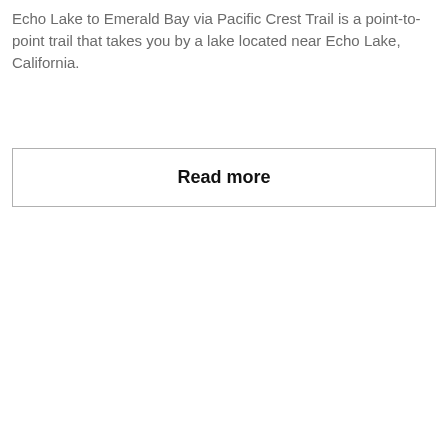Echo Lake to Emerald Bay via Pacific Crest Trail is a point-to-point trail that takes you by a lake located near Echo Lake, California.
Read more